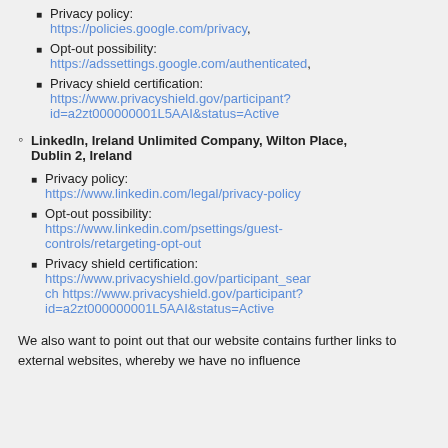Privacy policy: https://policies.google.com/privacy,
Opt-out possibility: https://adssettings.google.com/authenticated,
Privacy shield certification: https://www.privacyshield.gov/participant?id=a2zt000000001L5AAI&status=Active
LinkedIn, Ireland Unlimited Company, Wilton Place, Dublin 2, Ireland
Privacy policy: https://www.linkedin.com/legal/privacy-policy
Opt-out possibility: https://www.linkedin.com/psettings/guest-controls/retargeting-opt-out
Privacy shield certification: https://www.privacyshield.gov/participant_search https://www.privacyshield.gov/participant?id=a2zt000000001L5AAI&status=Active
We also want to point out that our website contains further links to external websites, whereby we have no influence